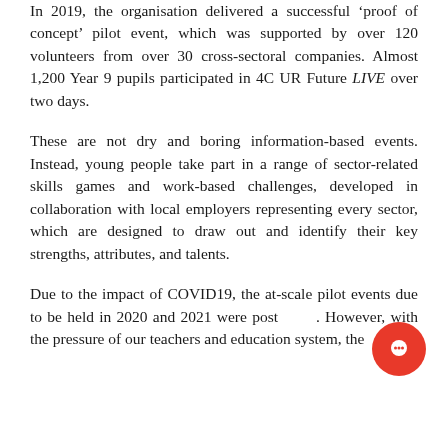In 2019, the organisation delivered a successful 'proof of concept' pilot event, which was supported by over 120 volunteers from over 30 cross-sectoral companies. Almost 1,200 Year 9 pupils participated in 4C UR Future LIVE over two days.
These are not dry and boring information-based events. Instead, young people take part in a range of sector-related skills games and work-based challenges, developed in collaboration with local employers representing every sector, which are designed to draw out and identify their key strengths, attributes, and talents.
Due to the impact of COVID19, the at-scale pilot events due to be held in 2020 and 2021 were postponed. However, with the pressure of our teachers and education system, the